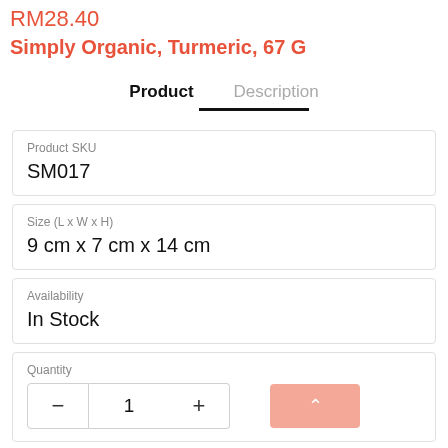RM28.40
Simply Organic, Turmeric, 67 G
Product   Description
| Field | Value |
| --- | --- |
| Product SKU | SM017 |
| Size (L x W x H) | 9 cm x 7 cm x 14 cm |
| Availability | In Stock |
| Quantity | 1 |